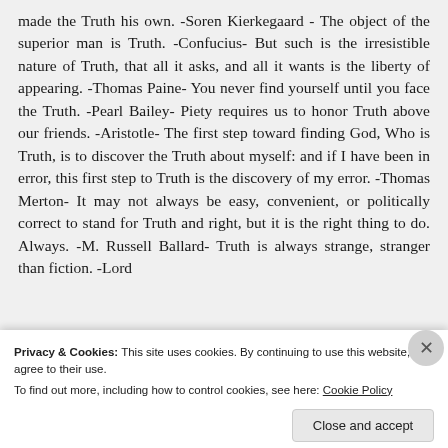made the Truth his own. -Soren Kierkegaard - The object of the superior man is Truth. -Confucius- But such is the irresistible nature of Truth, that all it asks, and all it wants is the liberty of appearing. -Thomas Paine- You never find yourself until you face the Truth. -Pearl Bailey- Piety requires us to honor Truth above our friends. -Aristotle- The first step toward finding God, Who is Truth, is to discover the Truth about myself: and if I have been in error, this first step to Truth is the discovery of my error. -Thomas Merton- It may not always be easy, convenient, or politically correct to stand for Truth and right, but it is the right thing to do. Always. -M. Russell Ballard- Truth is always strange, stranger than fiction. -Lord
Privacy & Cookies: This site uses cookies. By continuing to use this website, you agree to their use.
To find out more, including how to control cookies, see here: Cookie Policy